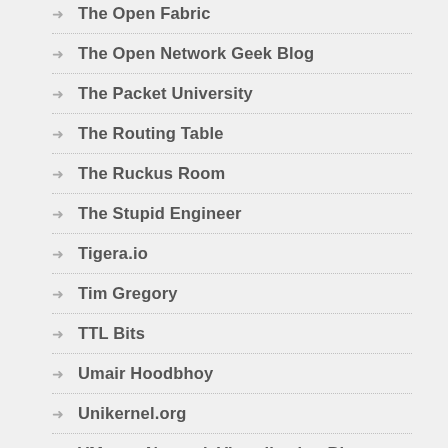The Open Fabric
The Open Network Geek Blog
The Packet University
The Routing Table
The Ruckus Room
The Stupid Engineer
Tigera.io
Tim Gregory
TTL Bits
Umair Hoodbhoy
Unikernel.org
VMware Network Virtualization Blog